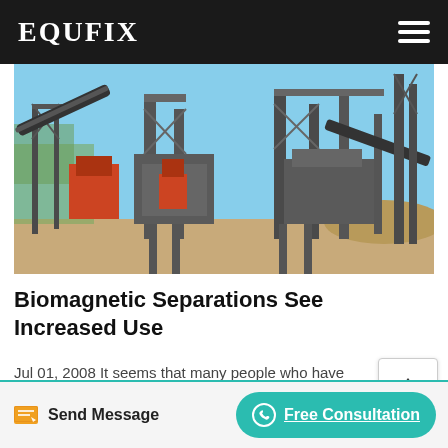EQUFIX
[Figure (photo): Industrial mining/magnetic separation equipment with conveyor belts, large metal structures, and machinery on a dirt site under a blue sky.]
Biomagnetic Separations See Increased Use
Jul 01, 2008 It seems that many people who have never used magnetic separation are now considering this technology. To further boost utility, manufacturers …